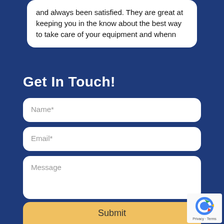and always been satisfied. They are great at keeping you in the know about the best way to take care of your equipment and whenn
Get In Touch!
Name*
Email*
Message
Submit